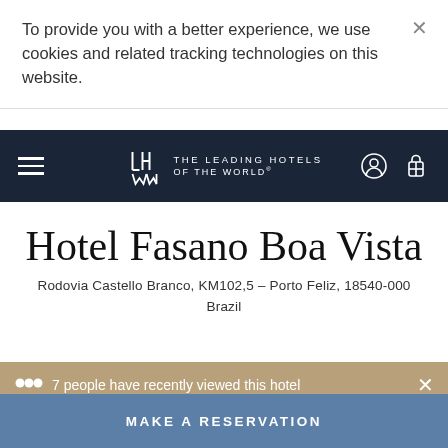To provide you with a better experience, we use cookies and related tracking technologies on this website.
[Figure (logo): The Leading Hotels of the World logo with navigation bar on dark navy background]
Hotel Fasano Boa Vista
Rodovia Castello Branco, KM102,5 – Porto Feliz, 18540-000 Brazil
7 people have recently viewed this hotel
MAKE A RESERVATION